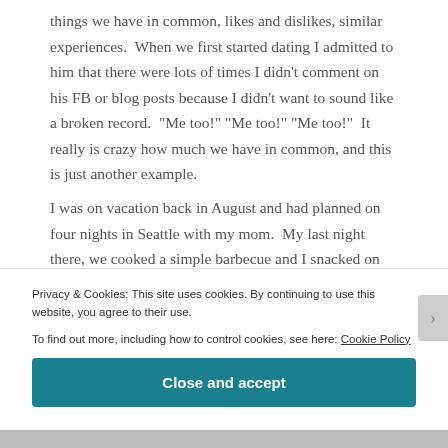things we have in common, likes and dislikes, similar experiences.  When we first started dating I admitted to him that there were lots of times I didn't comment on his FB or blog posts because I didn't want to sound like a broken record.  "Me too!" "Me too!" "Me too!"  It really is crazy how much we have in common, and this is just another example.
I was on vacation back in August and had planned on four nights in Seattle with my mom.  My last night there, we cooked a simple barbecue and I snacked on
Privacy & Cookies: This site uses cookies. By continuing to use this website, you agree to their use.
To find out more, including how to control cookies, see here: Cookie Policy
Close and accept